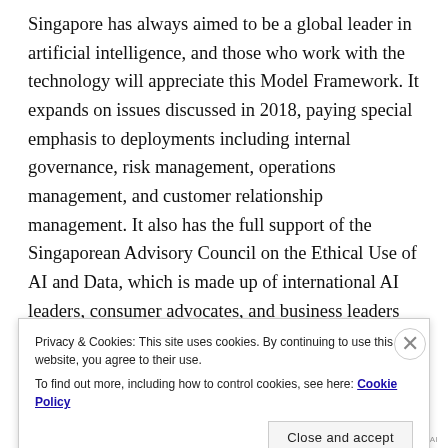Singapore has always aimed to be a global leader in artificial intelligence, and those who work with the technology will appreciate this Model Framework. It expands on issues discussed in 2018, paying special emphasis to deployments including internal governance, risk management, operations management, and customer relationship management. It also has the full support of the Singaporean Advisory Council on the Ethical Use of AI and Data, which is made up of international AI leaders, consumer advocates, and business leaders who help to engage stakeholders on issues related to the development of
Privacy & Cookies: This site uses cookies. By continuing to use this website, you agree to their use.
To find out more, including how to control cookies, see here: Cookie Policy